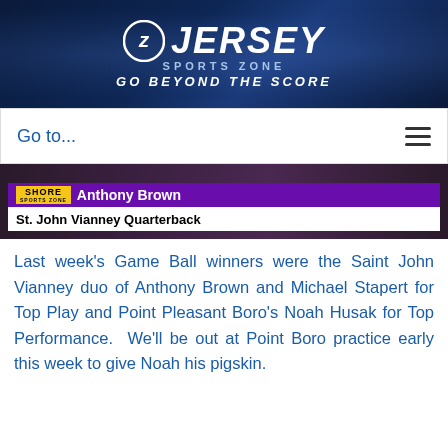[Figure (logo): Jersey Sports Zone logo with circle Z icon, JERSEY in large italic white text, SPORTS ZONE in spaced text, GO BEYOND THE SCORE tagline, on dark blue background]
[Figure (screenshot): Navigation bar with 'Go to...' text in blue on left and hamburger menu icon on right]
[Figure (photo): Video screenshot showing Anthony Brown - St. John Vianney Quarterback lower-third graphic overlay on sports broadcast]
Last week's Game Ball winners were the Saint John Vianney duo of Anthony Brown and Michael Stapert for Top Play and Point Pleasant Boro's Noah Husak for Top Performance.  We'll be out at Point Boro practice early this week to give Noah his pigskin.